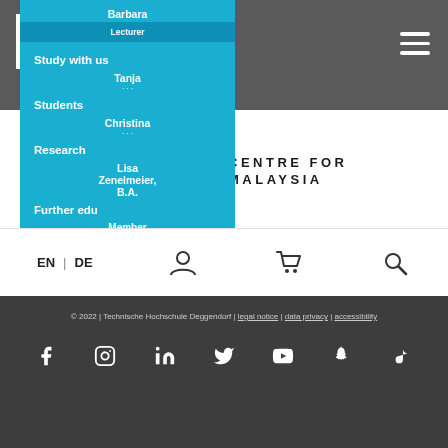[Figure (screenshot): Deggendorf Institute of Technology (DIT) website screenshot showing the university logo, navigation menu overlay, partial page heading about a centre for Malaysia, language switcher, footer with copyright and social media icons]
DEGGENDORF INSTITUTE OF TECHNOLOGY | DIT
Barbara
Lecturer
Study with us
CENTRE FOR MALAYSIA
Students
Tanja
Christina
Research
Lisa Zenelmeier, B.A.
Further edu
Member of the staff/office
EN | DE
© 2022 | Technische Hochschule Deggendorf | legal notice | data privacy | accessibility